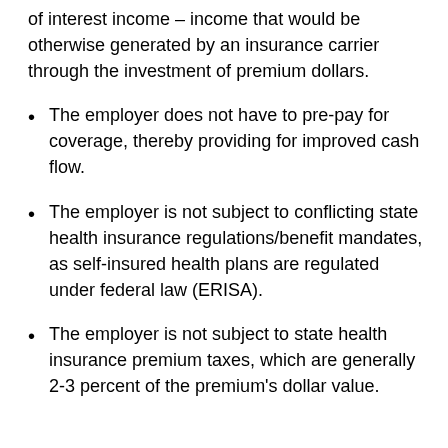of interest income – income that would be otherwise generated by an insurance carrier through the investment of premium dollars.
The employer does not have to pre-pay for coverage, thereby providing for improved cash flow.
The employer is not subject to conflicting state health insurance regulations/benefit mandates, as self-insured health plans are regulated under federal law (ERISA).
The employer is not subject to state health insurance premium taxes, which are generally 2-3 percent of the premium's dollar value.